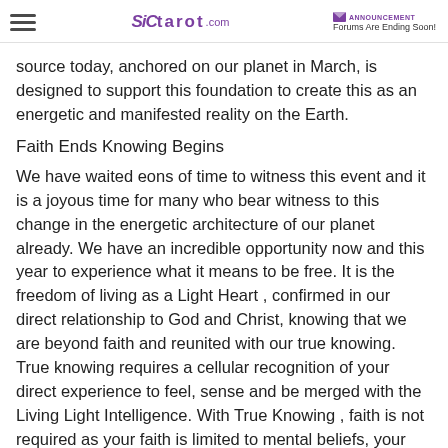SiC Tarot.com | ANNOUNCEMENT Forums Are Ending Soon!
source today, anchored on our planet in March, is designed to support this foundation to create this as an energetic and manifested reality on the Earth.
Faith Ends Knowing Begins
We have waited eons of time to witness this event and it is a joyous time for many who bear witness to this change in the energetic architecture of our planet already. We have an incredible opportunity now and this year to experience what it means to be free. It is the freedom of living as a Light Heart , confirmed in our direct relationship to God and Christ, knowing that we are beyond faith and reunited with our true knowing. True knowing requires a cellular recognition of your direct experience to feel, sense and be merged with the Living Light Intelligence. With True Knowing , faith is not required as your faith is limited to mental beliefs, your knowing radiates the luminescence of